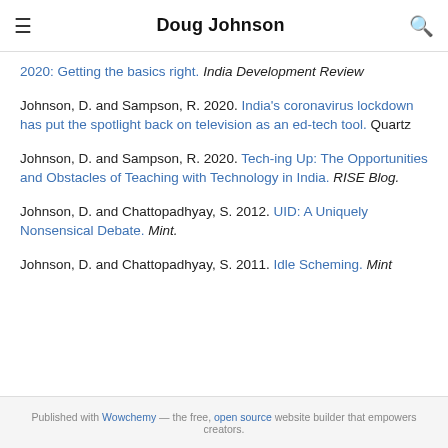Doug Johnson
2020: Getting the basics right. India Development Review
Johnson, D. and Sampson, R. 2020. India's coronavirus lockdown has put the spotlight back on television as an ed-tech tool. Quartz
Johnson, D. and Sampson, R. 2020. Tech-ing Up: The Opportunities and Obstacles of Teaching with Technology in India. RISE Blog.
Johnson, D. and Chattopadhyay, S. 2012. UID: A Uniquely Nonsensical Debate. Mint.
Johnson, D. and Chattopadhyay, S. 2011. Idle Scheming. Mint
Published with Wowchemy — the free, open source website builder that empowers creators.